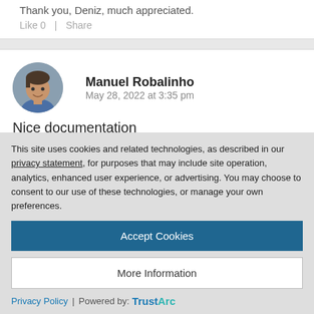Thank you, Deniz, much appreciated.
Like 0  |  Share
Manuel Robalinho
May 28, 2022 at 3:35 pm
Nice documentation
Like 0  |  Share
This site uses cookies and related technologies, as described in our privacy statement, for purposes that may include site operation, analytics, enhanced user experience, or advertising. You may choose to consent to our use of these technologies, or manage your own preferences.
Accept Cookies
More Information
Privacy Policy | Powered by: TrustArc